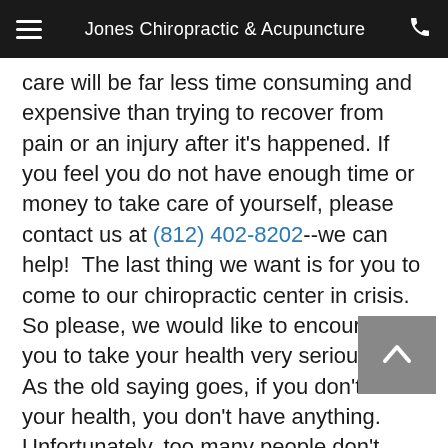Jones Chiropractic & Acupuncture
care will be far less time consuming and expensive than trying to recover from pain or an injury after it's happened. If you feel you do not have enough time or money to take care of yourself, please contact us at (812) 402-8202--we can help!  The last thing we want is for you to come to our chiropractic center in crisis.  So please, we would like to encourage you to take your health very seriously.  As the old saying goes, if you don't have your health, you don't have anything.  Unfortunately, too many people don't discover how true that statement is until it is too late.